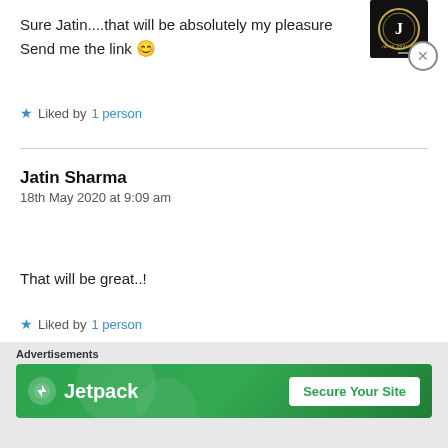Sure Jatin....that will be absolutely my pleasure
Send me the link 😊
★ Liked by 1 person
Jatin Sharma
18th May 2020 at 9:09 am
[Figure (logo): Black avatar/logo image for Jatin Sharma profile]
That will be great..!
★ Liked by 1 person
Advertisements
[Figure (infographic): Jetpack advertisement banner with green background, Jetpack logo on left and 'Secure Your Site' button on right]